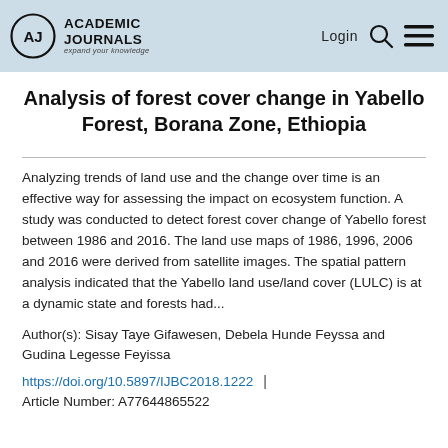Academic Journals | Login
Analysis of forest cover change in Yabello Forest, Borana Zone, Ethiopia
Analyzing trends of land use and the change over time is an effective way for assessing the impact on ecosystem function. A study was conducted to detect forest cover change of Yabello forest between 1986 and 2016. The land use maps of 1986, 1996, 2006 and 2016 were derived from satellite images. The spatial pattern analysis indicated that the Yabello land use/land cover (LULC) is at a dynamic state and forests had...
Author(s): Sisay Taye Gifawesen, Debela Hunde Feyssa and Gudina Legesse Feyissa
https://doi.org/10.5897/IJBC2018.1222 | Article Number: A77644865522